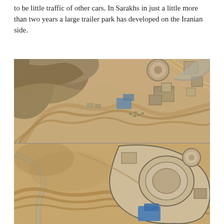to be little traffic of other cars. In Sarakhs in just a little more than two years a large trailer park has developed on the Iranian side.
[Figure (photo): Aerial/satellite photograph showing a desert border area with roads, earthworks, and some blue-roofed structures, likely Sarakhs border crossing area - top image (earlier date)]
[Figure (photo): Aerial/satellite photograph showing the same desert border area with more developed structures, a larger complex with blue roofs visible on the right side - bottom image (later date showing development)]